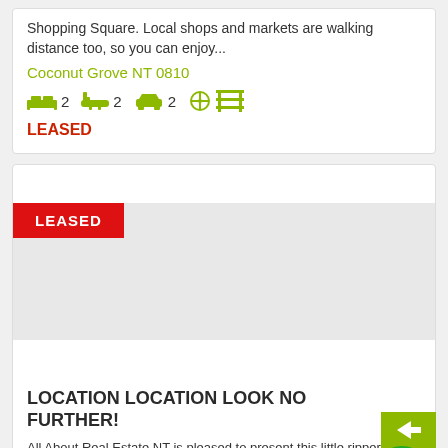Shopping Square. Local shops and markets are walking distance too, so you can enjoy...
Coconut Grove NT 0810
2 bedrooms, 2 bathrooms, 2 car spaces
LEASED
[Figure (photo): Property image placeholder with LEASED badge overlay]
LOCATION LOCATION LOOK NO FURTHER!
All About Real Estate NT is pleased to present this little ripper to the market for rent. Located at the end of a small...